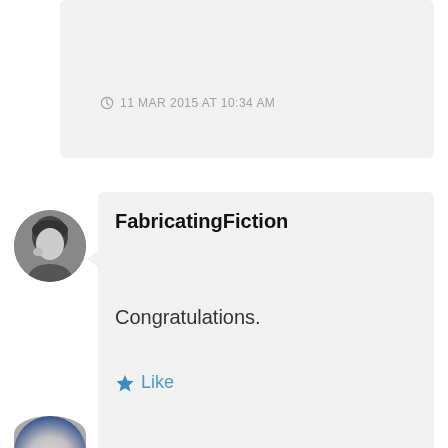11 MAR 2015 AT 10:34 AM
[Figure (photo): Round avatar photo of a person, black and white]
FabricatingFiction
Congratulations.
Like
11 MAR 2015 AT 1:19 PM
REPLY
[Figure (photo): Partial round avatar, blue tones, partially visible at bottom]